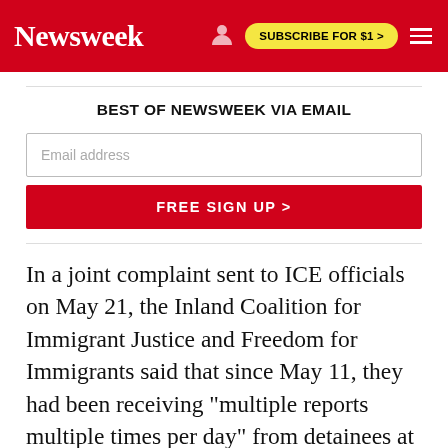Newsweek | SUBSCRIBE FOR $1 >
BEST OF NEWSWEEK VIA EMAIL
Email address
FREE SIGN UP >
In a joint complaint sent to ICE officials on May 21, the Inland Coalition for Immigrant Justice and Freedom for Immigrants said that since May 11, they had been receiving "multiple reports multiple times per day" from detainees at the Adelanto ICE Processing Center about